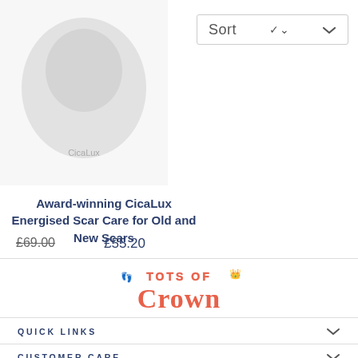[Figure (screenshot): Sort dropdown button in top right corner with chevron]
[Figure (photo): Product image placeholder for CicaLux scar care product]
Award-winning CicaLux Energised Scar Care for Old and New Scars
£69.00  £55.20
[Figure (logo): Tots of Crown logo in coral/salmon color]
QUICK LINKS
CUSTOMER CARE